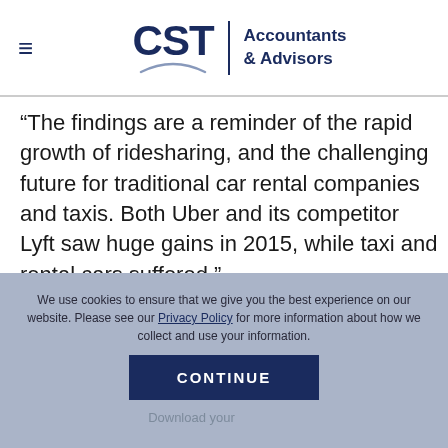[Figure (logo): CST Accountants & Advisors logo with hamburger menu icon, CST text with arc underline, vertical divider, and tagline]
“The findings are a reminder of the rapid growth of ridesharing, and the challenging future for traditional car rental companies and taxis. Both Uber and its competitor Lyft saw huge gains in 2015, while taxi and rental cars suffered.”
We use cookies to ensure that we give you the best experience on our website. Please see our Privacy Policy for more information about how we collect and use your information.
CONTINUE